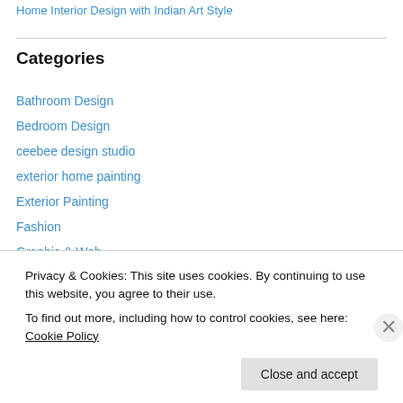Home Interior Design with Indian Art Style
Categories
Bathroom Design
Bedroom Design
ceebee design studio
exterior home painting
Exterior Painting
Fashion
Graphic & Web
Graphics Design
Home Design
Privacy & Cookies: This site uses cookies. By continuing to use this website, you agree to their use. To find out more, including how to control cookies, see here: Cookie Policy
Close and accept